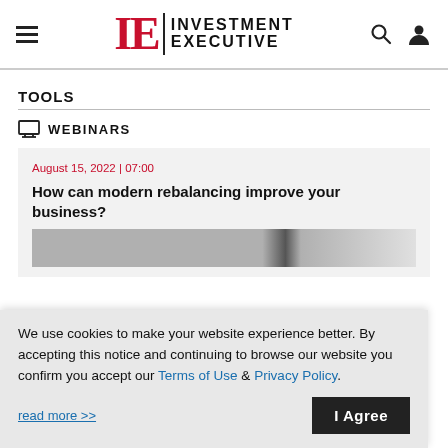IE Investment Executive
TOOLS
WEBINARS
August 15, 2022 | 07:00
How can modern rebalancing improve your business?
We use cookies to make your website experience better. By accepting this notice and continuing to browse our website you confirm you accept our Terms of Use & Privacy Policy. read more >> I Agree